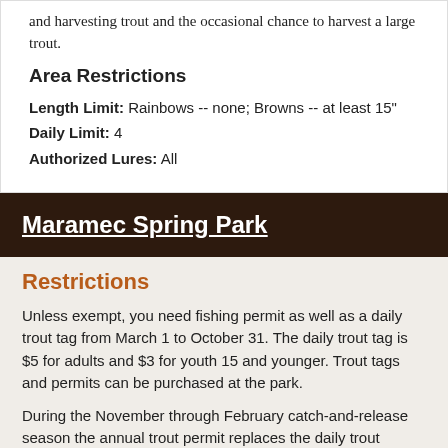and harvesting trout and the occasional chance to harvest a large trout.
Area Restrictions
Length Limit: Rainbows -- none; Browns -- at least 15"
Daily Limit: 4
Authorized Lures: All
Maramec Spring Park
Restrictions
Unless exempt, you need fishing permit as well as a daily trout tag from March 1 to October 31. The daily trout tag is $5 for adults and $3 for youth 15 and younger. Trout tags and permits can be purchased at the park.
During the November through February catch-and-release season the annual trout permit replaces the daily trout